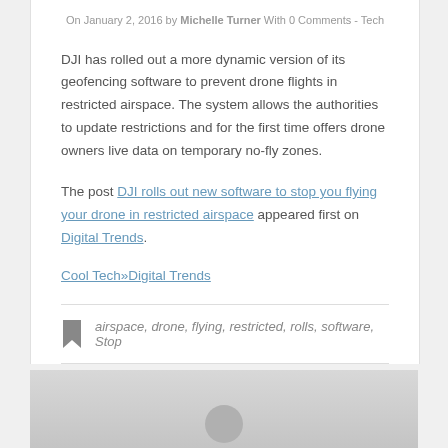On January 2, 2016 by Michelle Turner With 0 Comments - Tech
DJI has rolled out a more dynamic version of its geofencing software to prevent drone flights in restricted airspace. The system allows the authorities to update restrictions and for the first time offers drone owners live data on temporary no-fly zones.
The post DJI rolls out new software to stop you flying your drone in restricted airspace appeared first on Digital Trends.
Cool Tech»Digital Trends
airspace, drone, flying, restricted, rolls, software, Stop
[Figure (photo): Thumbnail image at bottom of page, light gray background with a circular element visible]